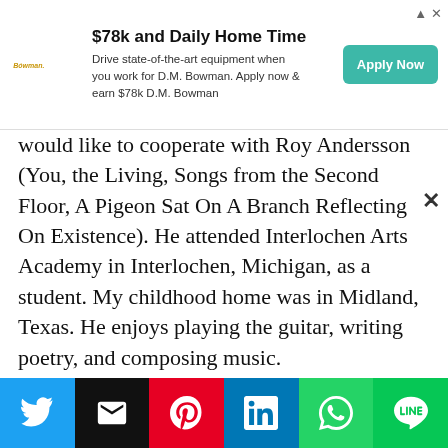[Figure (other): Advertisement banner for D.M. Bowman trucking company. Headline: '$78k and Daily Home Time'. Body: 'Drive state-of-the-art equipment when you work for D.M. Bowman. Apply now & earn $78k D.M. Bowman'. Green 'Apply Now' button on right. Bowman logo on left.]
would like to cooperate with Roy Andersson (You, the Living, Songs from the Second Floor, A Pigeon Sat On A Branch Reflecting On Existence). He attended Interlochen Arts Academy in Interlochen, Michigan, as a student. My childhood home was in Midland, Texas. He enjoys playing the guitar, writing poetry, and composing music.
Ben Johnson and Ben Graupner are close friends of his. Actors like Robert Downey Jr., Clint Eastwood and Katharine Hepburn are some of my favourites. He was a member of 100 Monkeys, an indie funk
[Figure (other): Social media sharing bar with six buttons: Twitter (blue), Email (black), Pinterest (red), LinkedIn (blue), WhatsApp (green), Line (green).]